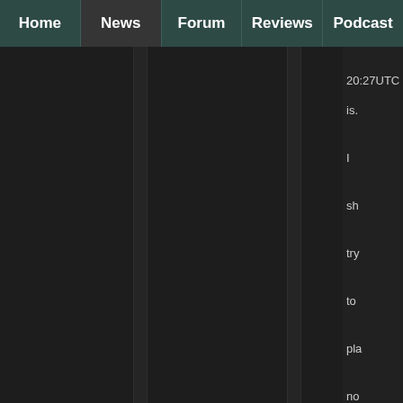Home | News | Forum | Reviews | Podcast
20:27UTC
is.

I

sh

try

to

pla

no

bu

9

so

ga

th

wh

ye

I

be

I